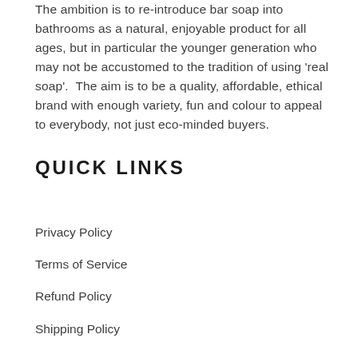The ambition is to re-introduce bar soap into bathrooms as a natural, enjoyable product for all ages, but in particular the younger generation who may not be accustomed to the tradition of using 'real soap'.  The aim is to be a quality, affordable, ethical brand with enough variety, fun and colour to appeal to everybody, not just eco-minded buyers.
QUICK LINKS
Privacy Policy
Terms of Service
Refund Policy
Shipping Policy